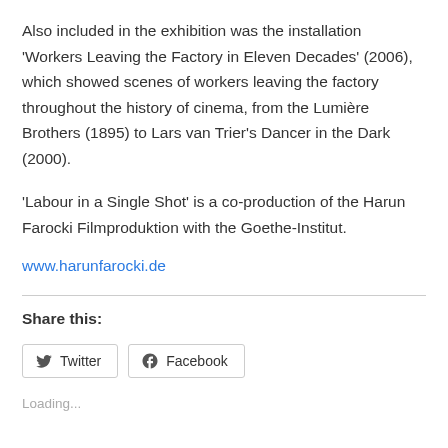Also included in the exhibition was the installation 'Workers Leaving the Factory in Eleven Decades' (2006), which showed scenes of workers leaving the factory throughout the history of cinema, from the Lumière Brothers (1895) to Lars van Trier's Dancer in the Dark (2000).
'Labour in a Single Shot' is a co-production of the Harun Farocki Filmproduktion with the Goethe-Institut.
www.harunfarocki.de
Share this:
Twitter  Facebook
Loading...